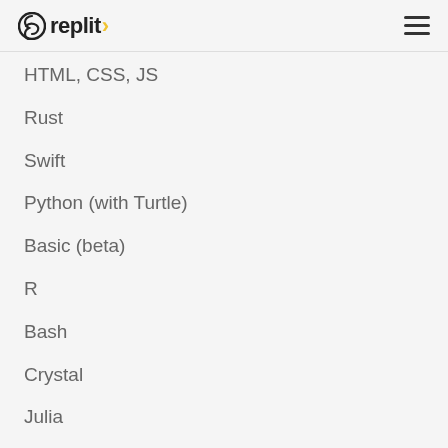replit
HTML, CSS, JS
Rust
Swift
Python (with Turtle)
Basic (beta)
R
Bash
Crystal
Julia
Elixir